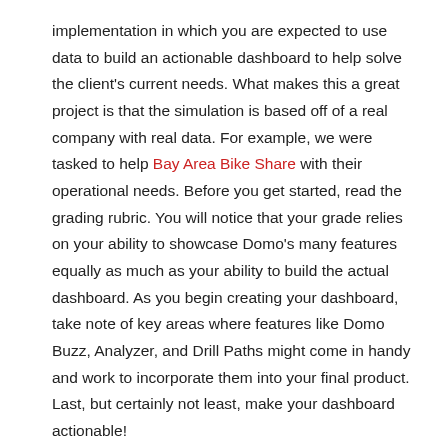implementation in which you are expected to use data to build an actionable dashboard to help solve the client's current needs. What makes this a great project is that the simulation is based off of a real company with real data. For example, we were tasked to help Bay Area Bike Share with their operational needs. Before you get started, read the grading rubric. You will notice that your grade relies on your ability to showcase Domo's many features equally as much as your ability to build the actual dashboard. As you begin creating your dashboard, take note of key areas where features like Domo Buzz, Analyzer, and Drill Paths might come in handy and work to incorporate them into your final product. Last, but certainly not least, make your dashboard actionable!